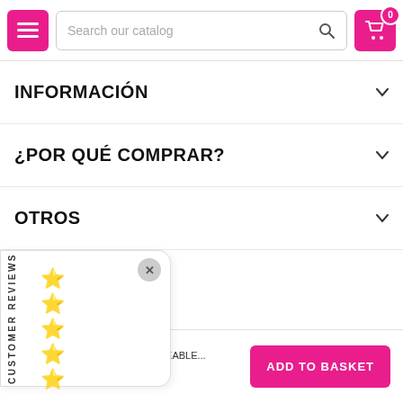Search our catalog
INFORMACIÓN
¿POR QUÉ COMPRAR?
OTROS
[Figure (other): Customer reviews panel with close button, vertical CUSTOMER REVIEWS label, and 5 star icons in a column]
DOLCE VITA RECHARGEABLE...
€24.95
ADD TO BASKET